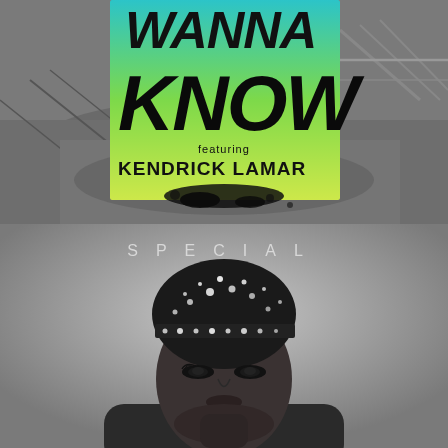[Figure (illustration): Album cover art for a song featuring Kendrick Lamar. Top half: grayscale background showing an empty swimming pool with railings and concrete surroundings. Overlaid in the center is a teal-to-yellow-green gradient rectangle containing hand-lettered/graffiti-style text reading 'WANNA KNOW' in large black brush letters, with 'featuring KENDRICK LAMAR' in smaller black sans-serif text below. Dark ink splatter at the bottom of the text block.]
[Figure (photo): Album cover art labeled 'SPECIAL'. Black and white portrait photograph of a woman wearing a heavily sequined/beaded skullcap, looking upward with dramatic eye makeup. The word 'SPECIAL' appears in widely spaced capital letters at the top of the image in light gray against the gray background.]